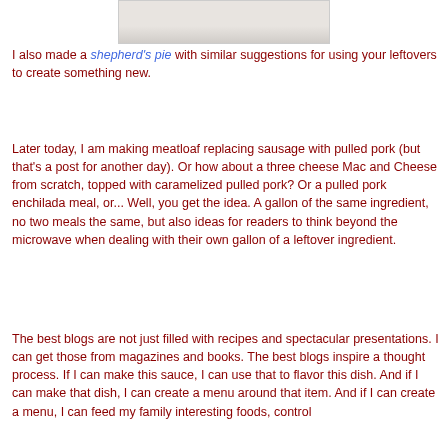[Figure (photo): Partial photo of food item at the top of the page, cropped]
I also made a shepherd's pie with similar suggestions for using your leftovers to create something new.
Later today, I am making meatloaf replacing sausage with pulled pork (but that's a post for another day).  Or how about a three cheese Mac and Cheese from scratch, topped with caramelized pulled pork?  Or a pulled pork enchilada meal, or...  Well, you get the idea.  A gallon of the same ingredient, no two meals the same, but also ideas for readers to think beyond the microwave when dealing with their own gallon of a leftover ingredient.
The best blogs are not just filled with recipes and spectacular presentations.  I can get those from magazines and books.  The best blogs inspire a thought process.  If I can make this sauce, I can use that to flavor this dish.  And if I can make that dish, I can create a menu around that item.  And if I can create a menu, I can feed my family interesting foods, control